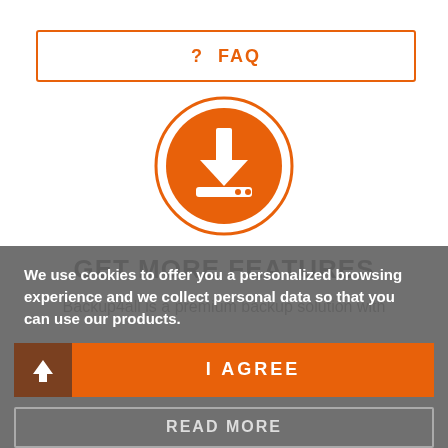? FAQ
[Figure (illustration): Orange circle with white download arrow icon (arrow pointing down onto a tray with dots)]
GET MORE FEATURES
Backup4all is a premium backup solution with
We use cookies to offer you a personalized browsing experience and we collect personal data so that you can use our products.
I AGREE
READ MORE